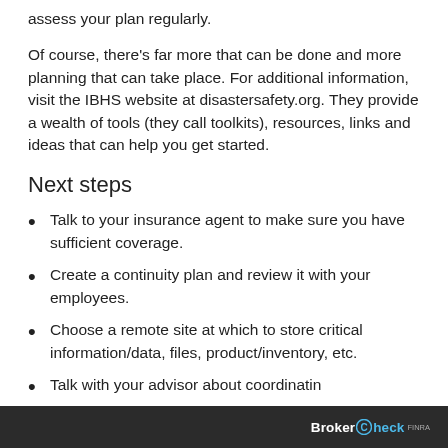assess your plan regularly.
Of course, there's far more that can be done and more planning that can take place. For additional information, visit the IBHS website at disastersafety.org. They provide a wealth of tools (they call toolkits), resources, links and ideas that can help you get started.
Next steps
Talk to your insurance agent to make sure you have sufficient coverage.
Create a continuity plan and review it with your employees.
Choose a remote site at which to store critical information/data, files, product/inventory, etc.
Talk with your advisor about coordinating
BrokerCheck FINRA